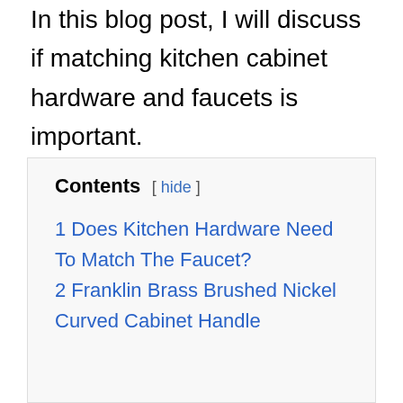In this blog post, I will discuss if matching kitchen cabinet hardware and faucets is important.
Contents [ hide ]
1 Does Kitchen Hardware Need To Match The Faucet?
2 Franklin Brass Brushed Nickel Curved Cabinet Handle